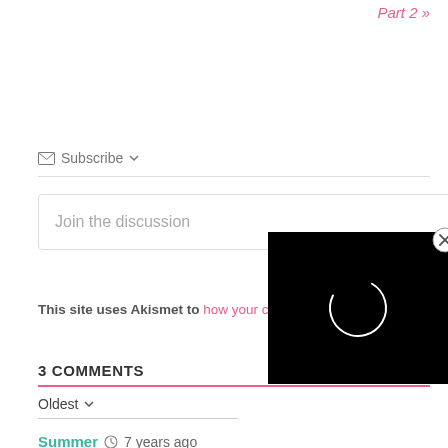Part 2 »
✉ Subscribe ▼
Join the discussion
This site uses Akismet to how your comment data
3 COMMENTS
Oldest ▼
[Figure (screenshot): Black video player overlay with white spinning circle loader and a close (X) button in top right corner]
Summer  🕐  7 years ago